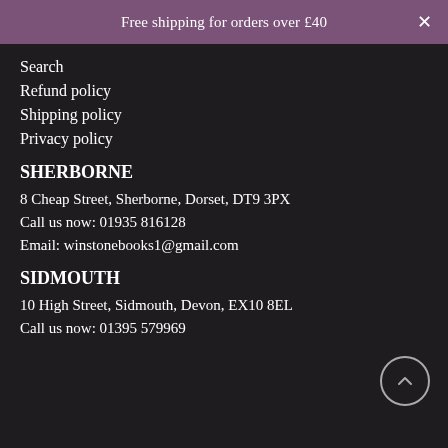Free shipping for orders over £40
Search
Refund policy
Shipping policy
Privacy policy
SHERBORNE
8 Cheap Street, Sherborne, Dorset, DT9 3PX
Call us now: 01935 816128
Email: winstonebooks1@gmail.com
SIDMOUTH
10 High Street, Sidmouth, Devon, EX10 8EL
Call us now: 01395 579969